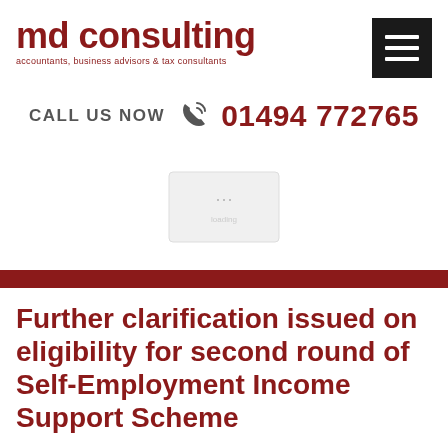[Figure (logo): md consulting logo with tagline: accountants, business advisors & tax consultants]
[Figure (other): Hamburger menu icon (three horizontal white lines on black background)]
CALL US NOW  01494 772765
[Figure (photo): Partially visible/loading image placeholder in center of page]
Further clarification issued on eligibility for second round of Self-Employment Income Support Scheme